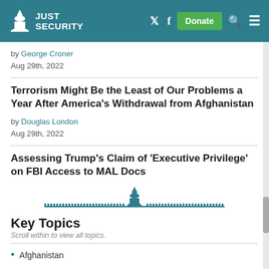Just Security
by George Croner
Aug 29th, 2022
Terrorism Might Be the Least of Our Problems a Year After America's Withdrawal from Afghanistan
by Douglas London
Aug 29th, 2022
Assessing Trump's Claim of ‘Executive Privilege’ on FBI Access to MAL Docs
[Figure (logo): Just Security capitol building logo decorative divider]
Key Topics
Scroll within to view all topics.
Afghanistan